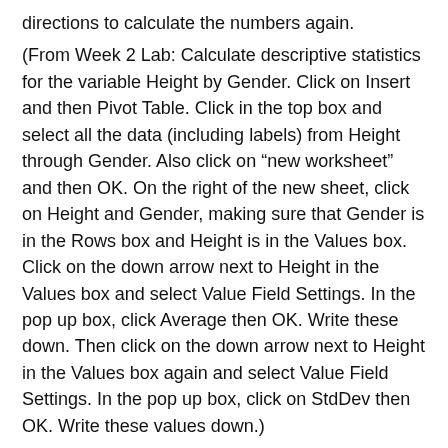directions to calculate the numbers again. (From Week 2 Lab: Calculate descriptive statistics for the variable Height by Gender. Click on Insert and then Pivot Table. Click in the top box and select all the data (including labels) from Height through Gender. Also click on “new worksheet” and then OK. On the right of the new sheet, click on Height and Gender, making sure that Gender is in the Rows box and Height is in the Values box. Click on the down arrow next to Height in the Values box and select Value Field Settings. In the pop up box, click Average then OK. Write these down. Then click on the down arrow next to Height in the Values box again and select Value Field Settings. In the pop up box, click on StdDev then OK. Write these values down.)
You will also need the number of males and the